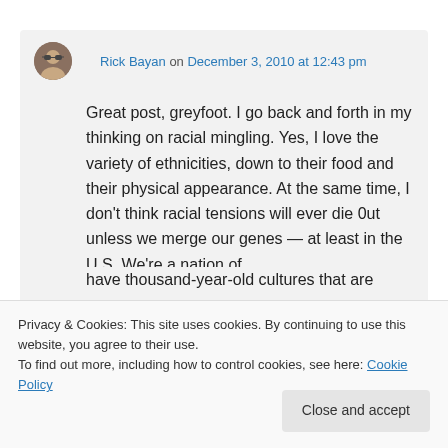Rick Bayan on December 3, 2010 at 12:43 pm
Great post, greyfoot. I go back and forth in my thinking on racial mingling. Yes, I love the variety of ethnicities, down to their food and their physical appearance. At the same time, I don’t think racial tensions will ever die 0ut unless we merge our genes — at least in the U.S. We’re a nation of
have thousand-year-old cultures that are
Privacy & Cookies: This site uses cookies. By continuing to use this website, you agree to their use.
To find out more, including how to control cookies, see here: Cookie Policy
Close and accept